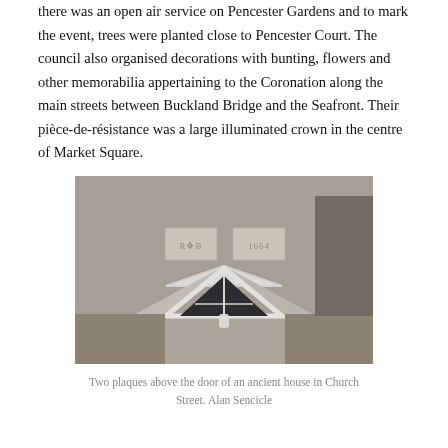there was an open air service on Pencester Gardens and to mark the event, trees were planted close to Pencester Court. The council also organised decorations with bunting, flowers and other memorabilia appertaining to the Coronation along the main streets between Buckland Bridge and the Seafront. Their pièce-de-résistance was a large illuminated crown in the centre of Market Square.
[Figure (photo): Photograph of two stone plaques above a door of an ancient house. The plaques are set into a textured grey rendered wall above a white-framed dormer window with a pointed gable. The plaques appear to have decorative text or monograms on them.]
Two plaques above the door of an ancient house in Church Street. Alan Sencicle